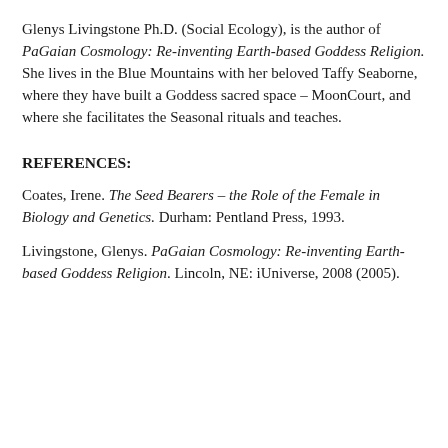Glenys Livingstone Ph.D. (Social Ecology), is the author of PaGaian Cosmology: Re-inventing Earth-based Goddess Religion. She lives in the Blue Mountains with her beloved Taffy Seaborne, where they have built a Goddess sacred space – MoonCourt, and where she facilitates the Seasonal rituals and teaches.
REFERENCES:
Coates, Irene. The Seed Bearers – the Role of the Female in Biology and Genetics. Durham: Pentland Press, 1993.
Livingstone, Glenys. PaGaian Cosmology: Re-inventing Earth-based Goddess Religion. Lincoln, NE: iUniverse, 2008 (2005).